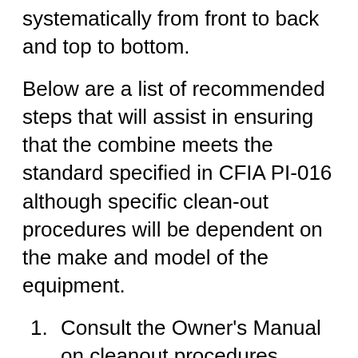The combine should be cleaned systematically from front to back and top to bottom.
Below are a list of recommended steps that will assist in ensuring that the combine meets the standard specified in CFIA PI-016 although specific clean-out procedures will be dependent on the make and model of the equipment.
1. Consult the Owner's Manual on cleanout procedures, access doors, component disassembly, and safety procedures.
2. Choose a suitable location for the